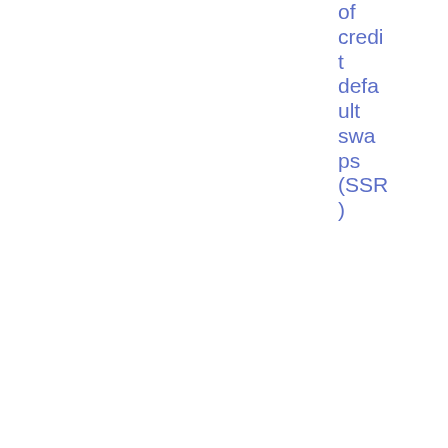of credit default swaps (SSR)
| Date | Reference | Document | Category | Type |  |
| --- | --- | --- | --- | --- | --- |
| 01/07/2015 | 2015/1005 | Questions and Answers: Investment-based | Innovation and Products | Q&A | PDF 15 7.73 KB |